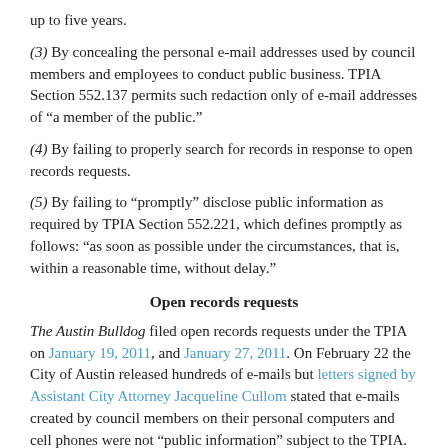up to five years.
(3) By concealing the personal e-mail addresses used by council members and employees to conduct public business. TPIA Section 552.137 permits such redaction only of e-mail addresses of “a member of the public.”
(4) By failing to properly search for records in response to open records requests.
(5) By failing to “promptly” disclose public information as required by TPIA Section 552.221, which defines promptly as follows: “as soon as possible under the circumstances, that is, within a reasonable time, without delay.”
Open records requests
The Austin Bulldog filed open records requests under the TPIA on January 19, 2011, and January 27, 2011. On February 22 the City of Austin released hundreds of e-mails but letters signed by Assistant City Attorney Jacqueline Cullom stated that e-mails created by council members on their personal computers and cell phones were not “public information” subject to the TPIA.